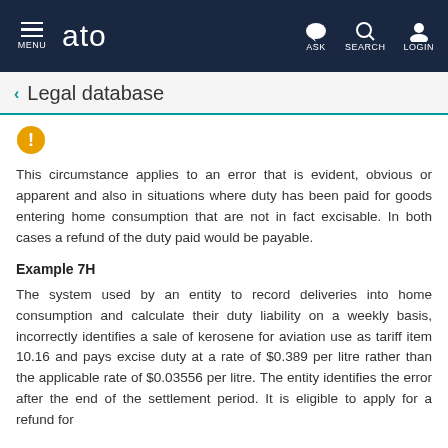ato — MENU, ASK, SEARCH, LOGIN
Legal database
[Figure (infographic): Yellow circle information/warning icon]
This circumstance applies to an error that is evident, obvious or apparent and also in situations where duty has been paid for goods entering home consumption that are not in fact excisable. In both cases a refund of the duty paid would be payable.
Example 7H
The system used by an entity to record deliveries into home consumption and calculate their duty liability on a weekly basis, incorrectly identifies a sale of kerosene for aviation use as tariff item 10.16 and pays excise duty at a rate of $0.389 per litre rather than the applicable rate of $0.03556 per litre. The entity identifies the error after the end of the settlement period. It is eligible to apply for a refund for